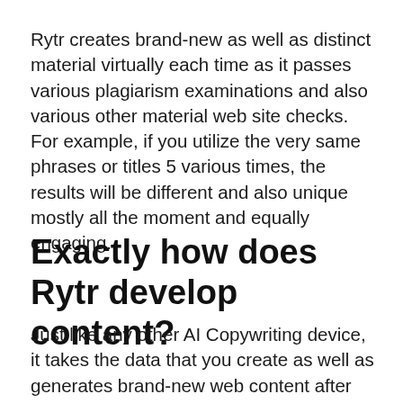Rytr creates brand-new as well as distinct material virtually each time as it passes various plagiarism examinations and also various other material web site checks. For example, if you utilize the very same phrases or titles 5 various times, the results will be different and also unique mostly all the moment and equally engaging.
Exactly how does Rytr develop content?
Just like any other AI Copywriting device, it takes the data that you create as well as generates brand-new web content after adding the required search phrases, outlines, questions, tones, and numerous other